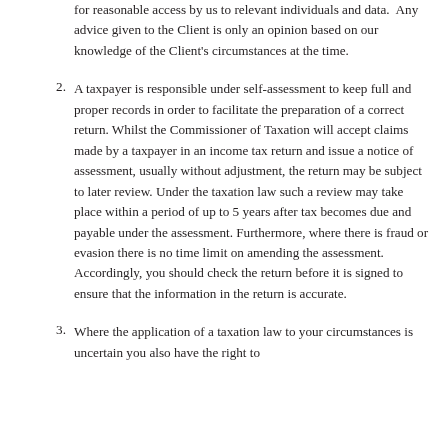for reasonable access by us to relevant individuals and data.  Any advice given to the Client is only an opinion based on our knowledge of the Client's circumstances at the time.
2. A taxpayer is responsible under self-assessment to keep full and proper records in order to facilitate the preparation of a correct return. Whilst the Commissioner of Taxation will accept claims made by a taxpayer in an income tax return and issue a notice of assessment, usually without adjustment, the return may be subject to later review. Under the taxation law such a review may take place within a period of up to 5 years after tax becomes due and payable under the assessment. Furthermore, where there is fraud or evasion there is no time limit on amending the assessment. Accordingly, you should check the return before it is signed to ensure that the information in the return is accurate.
3. Where the application of a taxation law to your circumstances is uncertain you also have the right to